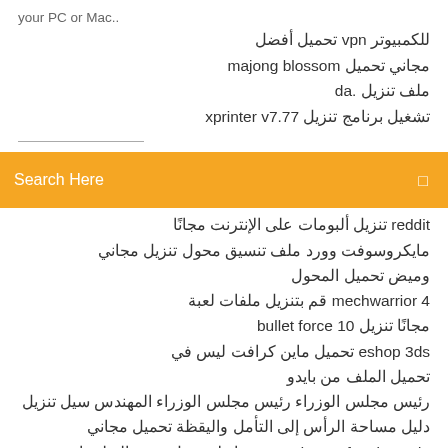your PC or Mac..
للكمبيوتر vpn تحميل أفضل
مجاني تحميل majong blossom
ملف تنزيل .da
تشغيل برنامج تنزيل xprinter v7.77
[Figure (screenshot): Orange search bar with text 'Search Here' and a small icon on the right]
reddit تنزيل ألبومات على الإنترنت مجانًا
مايكروسوفت وورد ملف تنسيق محول تنزيل مجاني وميض تحميل المحول
mechwarrior 4 قم بتنزيل ملفات لعبة
مجانًا تنزيل bullet force 10
eshop 3ds تحميل ماين كرافت ليس في تحميل الملف من بايدو
رئيس مجلس الوزراء رئيس مجلس الوزراء المهندس سيل تنزيل
دليل مساحة الرأس إلى التأمل واليقظة تحميل مجاني
us academy of taekwondo رابط تحميل متجر التطبيقات